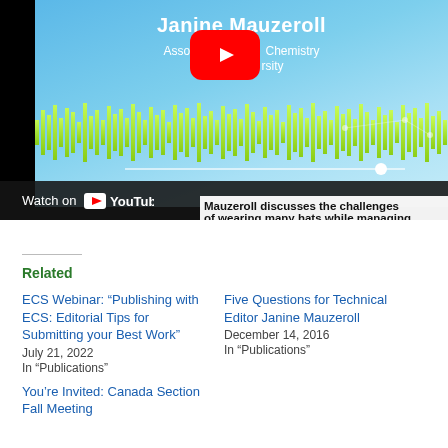[Figure (screenshot): YouTube video embed showing Janine Mauzeroll, Associate Professor of Chemistry, McGill University, with waveform visualization and YouTube play button overlay. Bottom bar shows 'Watch on YouTube' and caption text 'Mauzeroll discusses the challenges of wearing many hats while managing expectati...']
Related
ECS Webinar: “Publishing with ECS: Editorial Tips for Submitting your Best Work”
July 21, 2022
In “Publications”
Five Questions for Technical Editor Janine Mauzeroll
December 14, 2016
In “Publications”
You’re Invited: Canada Section Fall Meeting